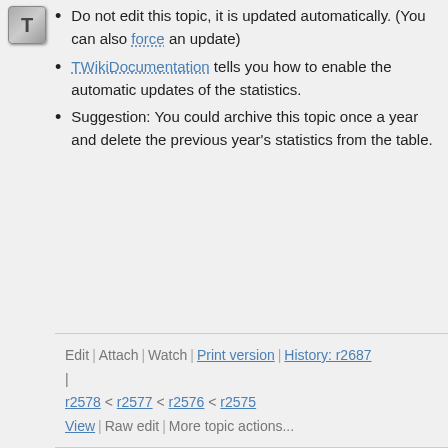[Figure (logo): T icon button, grey gradient square with letter T]
Do not edit this topic, it is updated automatically. (You can also force an update)
TWikiDocumentation tells you how to enable the automatic updates of the statistics.
Suggestion: You could archive this topic once a year and delete the previous year's statistics from the table.
Edit | Attach | Watch | Print version | History: r2687 | r2578 < r2577 < r2576 < r2575 View | Raw edit | More topic actions...